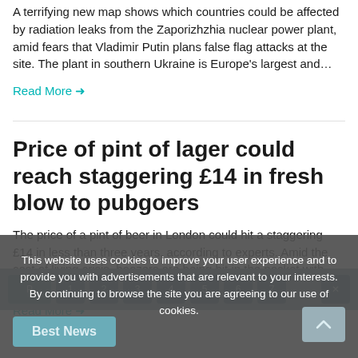A terrifying new map shows which countries could be affected by radiation leaks from the Zaporizhzhia nuclear power plant, amid fears that Vladimir Putin plans false flag attacks at the site. The plant in southern Ukraine is Europe's largest and...
Read More →
Price of pint of lager could reach staggering £14 in fresh blow to pubgoers
The price of a pint of beer in London could hit a staggering £14 in less than three years, according to experts. Amid the cost of living crisis, boozers are being hit in the pocket with spiralling energy bills, increasing...
Read More →
This website uses cookies to improve your user experience and to provide you with advertisements that are relevant to your interests. By continuing to browse the site you are agreeing to our use of cookies.
Ok